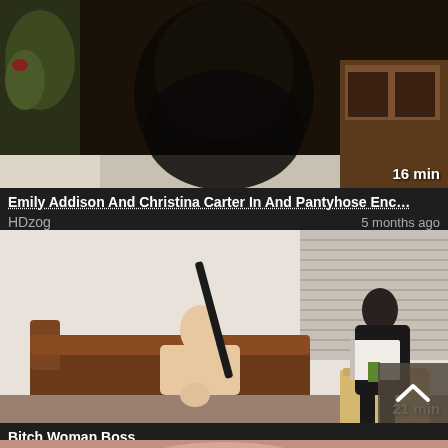[Figure (screenshot): Video thumbnail showing person in pantyhose]
16 min
Emily Addison And Christina Carter In And Pantyhose Enc…
HDzog
5 months ago
[Figure (screenshot): Video thumbnail showing two women on sofa]
21 min
Bitch Woman Boss
Upornia
4 months ago
[Figure (screenshot): Partial video thumbnail at bottom]